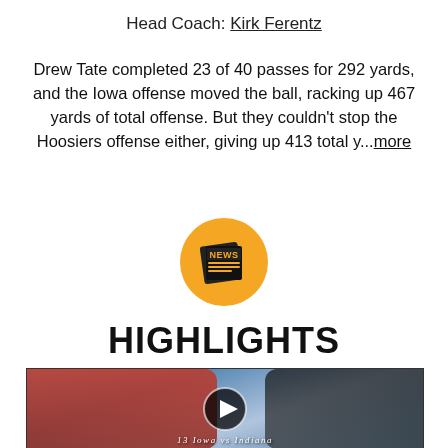Head Coach: Kirk Ferentz
Drew Tate completed 23 of 40 passes for 292 yards, and the Iowa offense moved the ball, racking up 467 yards of total offense. But they couldn't stop the Hoosiers offense either, giving up 413 total y...more
[Figure (illustration): A golden/yellow circular news icon with a newspaper graphic and the word NEWS in gold text on a dark background.]
HIGHLIGHTS
[Figure (photo): Two football coaches talking outdoors on a bright day. One wears a red jacket and white cap, the other a dark jacket. A play button overlay is centered on the image. Bottom caption reads '13 Iowa vs Indiana'.]